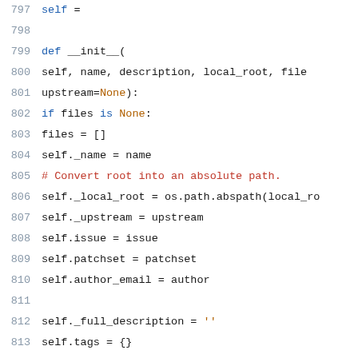Code snippet lines 797-818, Python source code showing __init__ method definition
[Figure (screenshot): Python source code lines 797-818 showing a class __init__ method with parameters self, name, description, local_root, file, upstream=None and body setting instance variables]